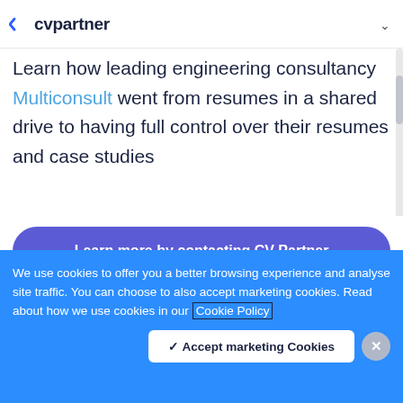cvpartner
Learn how leading engineering consultancy Multiconsult went from resumes in a shared drive to having full control over their resumes and case studies
Learn more by contacting CV Partner
We use cookies to offer you a better browsing experience and analyse site traffic. You can choose to also accept marketing cookies. Read about how we use cookies in our Cookie Policy
✓ Accept marketing Cookies